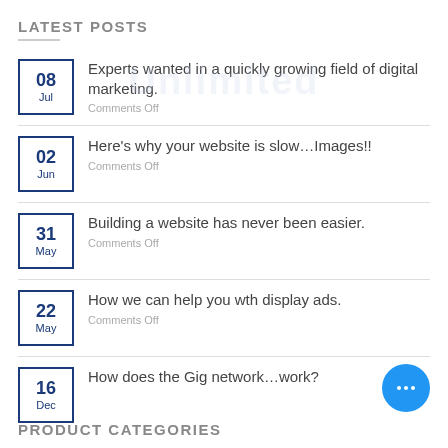LATEST POSTS
08 Jul — Experts wanted in a quickly growing field of digital marketing. Comments Off
02 Jun — Here's why your website is slow…Images!! Comments Off
31 May — Building a website has never been easier. Comments Off
22 May — How we can help you wth display ads. Comments Off
16 Dec — How does the Gig network…work?
PRODUCT CATEGORIES